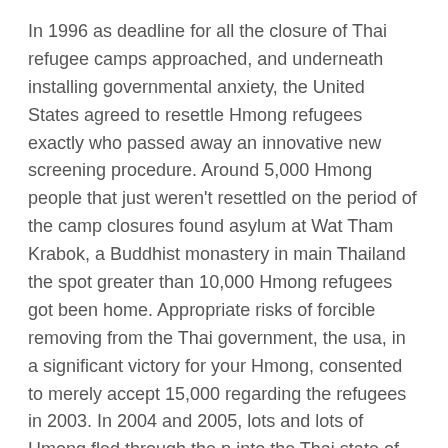In 1996 as deadline for all the closure of Thai refugee camps approached, and underneath installing governmental anxiety, the United States agreed to resettle Hmong refugees exactly who passed away an innovative new screening procedure. Around 5,000 Hmong people that just weren't resettled on the period of the camp closures found asylum at Wat Tham Krabok, a Buddhist monastery in main Thailand the spot greater than 10,000 Hmong refugees got been home. Appropriate risks of forcible removing from the Thai government, the usa, in a significant victory for your Hmong, consented to merely accept 15,000 regarding the refugees in 2003. In 2004 and 2005, lots and lots of Hmong fled through the p into the Thai state of Phetchabun. The huge amount unattached Cambodian females you might be in fact maneuvering to see think about in standing up by up till they've been partnered in order for Greeley CO escort reviews them to thrill in sexual workout.